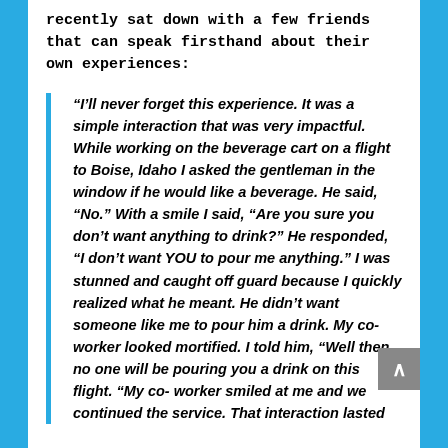recently sat down with a few friends that can speak firsthand about their own experiences:
“I’ll never forget this experience. It was a simple interaction that was very impactful. While working on the beverage cart on a flight to Boise, Idaho I asked the gentleman in the window if he would like a beverage. He said, “No.” With a smile I said, “Are you sure you don’t want anything to drink?” He responded, “I don’t want YOU to pour me anything.” I was stunned and caught off guard because I quickly realized what he meant. He didn’t want someone like me to pour him a drink. My co-worker looked mortified. I told him, “Well then, no one will be pouring you a drink on this flight. “My co- worker smiled at me and we continued the service. That interaction lasted